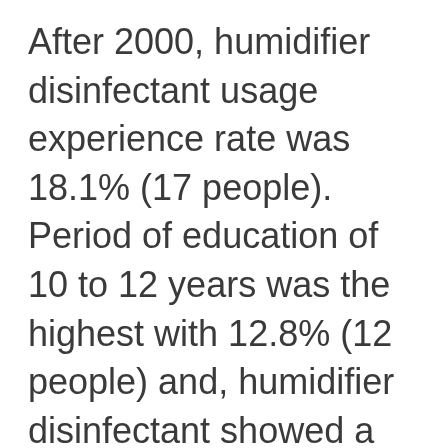After 2000, humidifier disinfectant usage experience rate was 18.1% (17 people). Period of education of 10 to 12 years was the highest with 12.8% (12 people) and, humidifier disinfectant showed a significant difference according to period of education (p = 0.010) (Table 1).